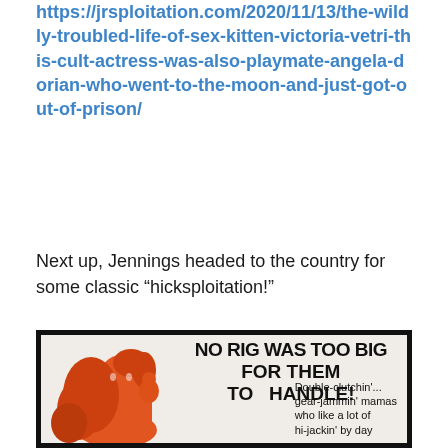https://jrsploitation.com/2020/11/13/the-wildly-troubled-life-of-sex-kitten-victoria-vetri-this-cult-actress-was-also-playmate-angela-dorian-who-went-to-the-moon-and-just-got-out-of-prison/
Next up, Jennings headed to the country for some classic “hicksploitation!”
[Figure (photo): Movie poster with black border on light beige background. Large bold black text reads 'NO RIG WAS TOO BIG FOR THEM TO HANDLE!' with an orange illustrated figure of a woman with flowing red hair. Tagline text reads 'Double-clutchin'... gear-jammin' mamas who like a lot of hi-jackin' by day']